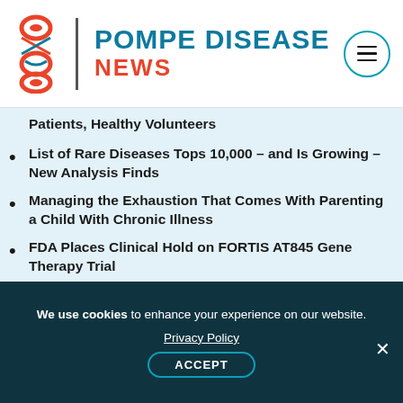POMPE DISEASE NEWS
Patients, Healthy Volunteers
List of Rare Diseases Tops 10,000 – and Is Growing – New Analysis Finds
Managing the Exhaustion That Comes With Parenting a Child With Chronic Illness
FDA Places Clinical Hold on FORTIS AT845 Gene Therapy Trial
Watching My Family's Excitement Over My Son's Progress
Europe OKs Nexviadyme for Infantile- and Late-onset Disease
Anticipating the Switch to Nexviazyme
We use cookies to enhance your experience on our website. Privacy Policy ACCEPT